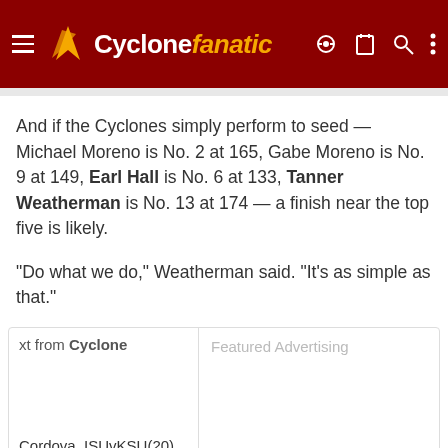Cyclonefanatic
And if the Cyclones simply perform to seed — Michael Moreno is No. 2 at 165, Gabe Moreno is No. 9 at 149, Earl Hall is No. 6 at 133, Tanner Weatherman is No. 13 at 174 — a finish near the top five is likely.
"Do what we do," Weatherman said. "It's as simple as that."
xt from Cyclone
Cordova_ISUvKSU(20)
WILLIAMS: What does Apple's deal
Featured Advertising